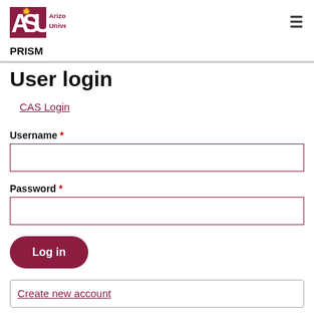ASU Arizona State University
PRISM
User login
CAS Login
Username *
Password *
Log in
Create new account